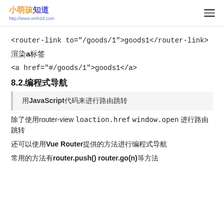小萌孩知道 http://www.xmh2d.com
<router-link to="/goods/1">goods1</router-link>
渲染a标签
<a href="#/goods/1">goods1</a>
8.2.编程式导航
用JavaScript代码来进行路由跳转
除了使用router-view loaction.href window.open 进行路由跳转
还可以使用Vue Router提供的方法进行编程式导航
常用的方法有router.push() **router.go(n)**等方法